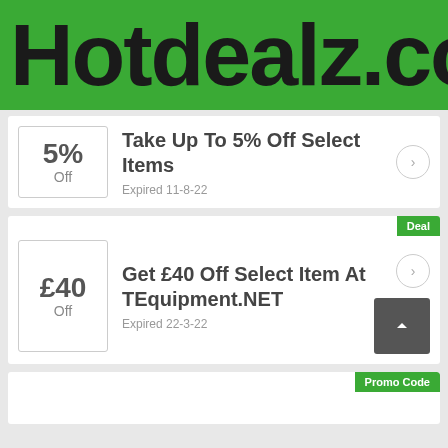[Figure (logo): Hotdealz.co.uk green logo banner with large black bold text on green background]
5% Off — Take Up To 5% Off Select Items — Expired 11-8-22
Deal — £40 Off — Get £40 Off Select Item At TEquipment.NET — Expired 22-3-22
Promo Code